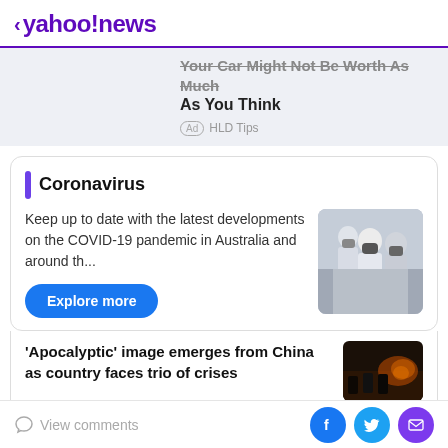< yahoo!news
Your Car Might Not Be Worth As Much As You Think
Ad HLD Tips
Coronavirus
Keep up to date with the latest developments on the COVID-19 pandemic in Australia and around th...
[Figure (photo): People in white hazmat suits and gas masks]
Explore more
'Apocalyptic' image emerges from China as country faces trio of crises
[Figure (photo): Dark image with people in medical/protective gear]
View comments